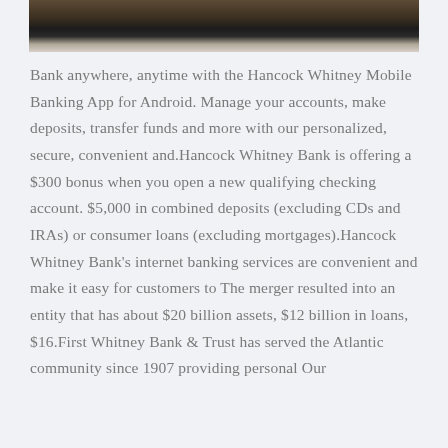[Figure (photo): Photo of a bank desk/office scene, partially cropped at the top of the page]
Bank anywhere, anytime with the Hancock Whitney Mobile Banking App for Android. Manage your accounts, make deposits, transfer funds and more with our personalized, secure, convenient and.Hancock Whitney Bank is offering a $300 bonus when you open a new qualifying checking account. $5,000 in combined deposits (excluding CDs and IRAs) or consumer loans (excluding mortgages).Hancock Whitney Bank's internet banking services are convenient and make it easy for customers to The merger resulted into an entity that has about $20 billion assets, $12 billion in loans, $16.First Whitney Bank & Trust has served the Atlantic community since 1907 providing personal Our